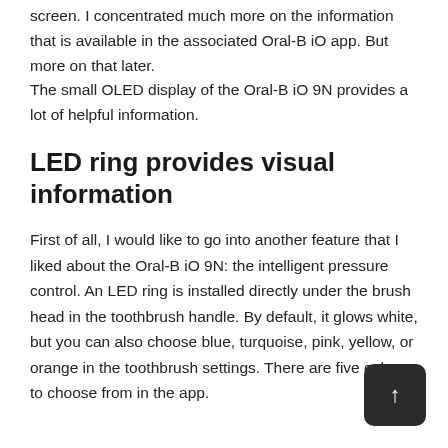screen. I concentrated much more on the information that is available in the associated Oral-B iO app. But more on that later.
The small OLED display of the Oral-B iO 9N provides a lot of helpful information.
LED ring provides visual information
First of all, I would like to go into another feature that I liked about the Oral-B iO 9N: the intelligent pressure control. An LED ring is installed directly under the brush head in the toothbrush handle. By default, it glows white, but you can also choose blue, turquoise, pink, yellow, or orange in the toothbrush settings. There are five colors to choose from in the app.